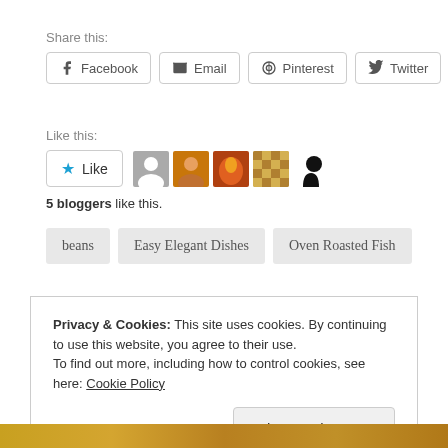Share this:
Facebook
Email
Pinterest
Twitter
Like this:
[Figure (other): Like button with star icon and 5 blogger avatars]
5 bloggers like this.
beans
Easy Elegant Dishes
Oven Roasted Fish
Privacy & Cookies: This site uses cookies. By continuing to use this website, you agree to their use. To find out more, including how to control cookies, see here: Cookie Policy
Close and accept